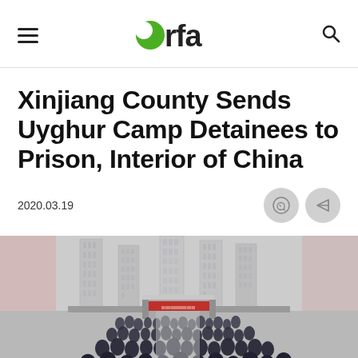rfa (Radio Free Asia logo)
Xinjiang County Sends Uyghur Camp Detainees to Prison, Interior of China
2020.03.19
[Figure (photo): Crowd of people in dark clothing viewed from behind, standing in rows in front of a gate with a red banner and tall apartment buildings in the background, in what appears to be a Chinese city.]